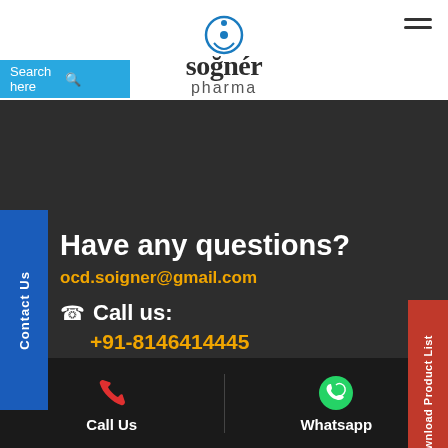[Figure (logo): Soigner Pharma logo with blue circle icon, text 'soignér pharma']
[Figure (screenshot): Search bar with blue background and search icon]
[Figure (screenshot): Hamburger menu icon (three lines) in top right]
Have any questions?
ocd.soigner@gmail.com
Call us:
+91-8146414445
Contact Us
Download Product List
Call Us
Whatsapp